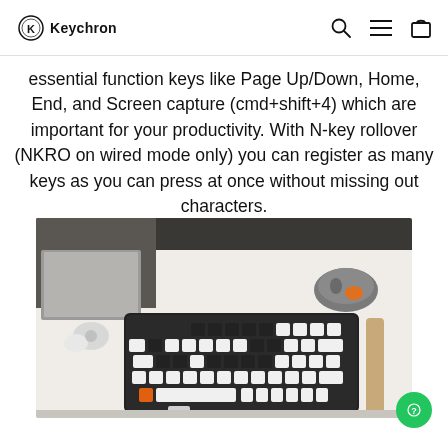Keychron
essential function keys like Page Up/Down, Home, End, and Screen capture (cmd+shift+4) which are important for your productivity. With N-key rollover (NKRO on wired mode only) you can register as many keys as you can press at once without missing out characters.
[Figure (photo): Keychron mechanical keyboard with black case and white/black keycaps with an orange accent key, placed on a white desk alongside a grey wireless mouse and other desk accessories.]